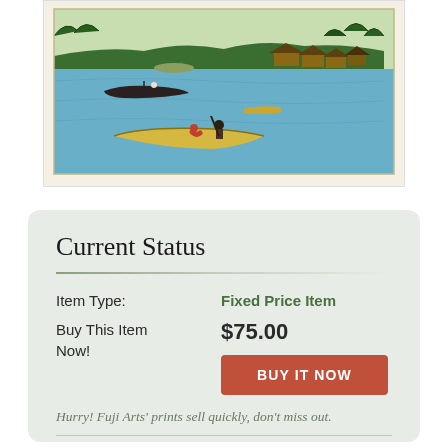[Figure (illustration): Japanese woodblock print showing a boat with figures on a calm blue river or lake, with thatched-roof buildings and trees in the background. The print has a cream/ivory border.]
Current Status
| Item Type: | Fixed Price Item |
| Buy This Item Now! | $75.00 |
|  | BUY IT NOW |
|  | Hurry! Fuji Arts' prints sell quickly, don't miss out. |
| Item Number: | 956135 |